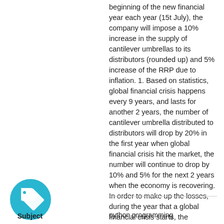beginning of the new financial year each year (15t July), the company will impose a 10% increase in the supply of cantilever umbrellas to its distributors (rounded up) and 5% increase of the RRP due to inflation. 1. Based on statistics, global financial crisis happens every 9 years, and lasts for another 2 years, the number of cantilever umbrella distributed to distributors will drop by 20% in the first year when global financial crisis hit the market, the number will continue to drop by 10% and 5% for the next 2 years when the economy is recovering. In order to make up the losses, during the year that a global financial crisis starts, the company will add an additional 10% increase in RRP to the product, the increase of the product RRP will become 5% in the next year, and 3% the year after to make up the loss.
python programming